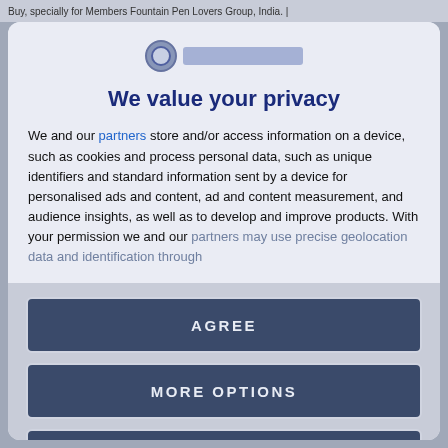Buy, specially for Members Fountain Pen Lovers Group, India. |
[Figure (logo): Circular logo with globe icon and text bar beside it]
We value your privacy
We and our partners store and/or access information on a device, such as cookies and process personal data, such as unique identifiers and standard information sent by a device for personalised ads and content, ad and content measurement, and audience insights, as well as to develop and improve products. With your permission we and our partners may use precise geolocation data and identification through
AGREE
MORE OPTIONS
DISAGREE